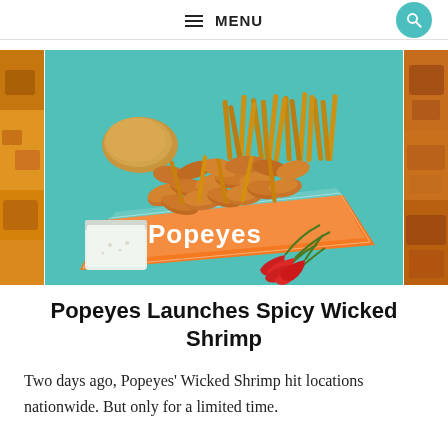MENU
[Figure (photo): Popeyes Spicy Wicked Shrimp meal with fries, biscuit, dipping sauce, and red chili peppers on a teal background, served in an orange Popeyes box]
Popeyes Launches Spicy Wicked Shrimp
Two days ago, Popeyes' Wicked Shrimp hit locations nationwide. But only for a limited time.